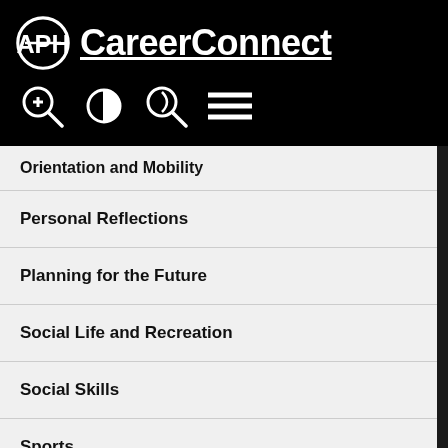APH CareerConnect
Orientation and Mobility
Personal Reflections
Planning for the Future
Social Life and Recreation
Social Skills
Sports
Technology